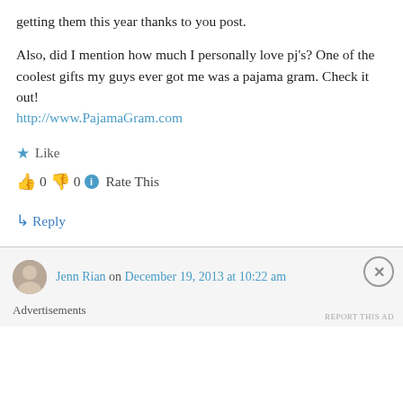getting them this year thanks to you post.
Also, did I mention how much I personally love pj's? One of the coolest gifts my guys ever got me was a pajama gram. Check it out! http://www.PajamaGram.com
★ Like
👍 0 👎 0 ℹ️ Rate This
↳ Reply
Jenn Rian on December 19, 2013 at 10:22 am
Advertisements
REPORT THIS AD